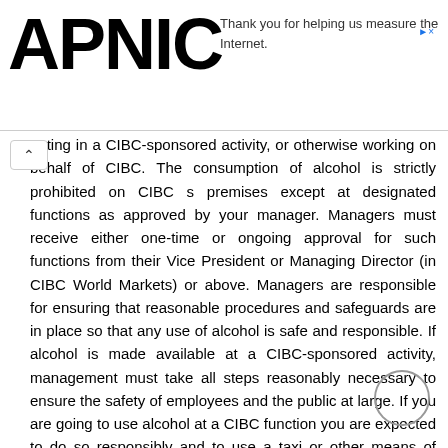APNIC — Thank you for helping us measure the Internet.
pating in a CIBC-sponsored activity, or otherwise working on behalf of CIBC. The consumption of alcohol is strictly prohibited on CIBC s premises except at designated functions as approved by your manager. Managers must receive either one-time or ongoing approval for such functions from their Vice President or Managing Director (in CIBC World Markets) or above. Managers are responsible for ensuring that reasonable procedures and safeguards are in place so that any use of alcohol is safe and responsible. If alcohol is made available at a CIBC-sponsored activity, management must take all steps reasonably necessary to ensure the safety of employees and the public at large. If you are going to use alcohol at a CIBC function you are expected to do so responsibly and to use a taxi or other means of transportation that will ensure your safety and that of others. 1.9 Maintaining Records You must ensure that all CIBC client, employee, general and corporate records comply with CIBC s policy on the creation, retention and